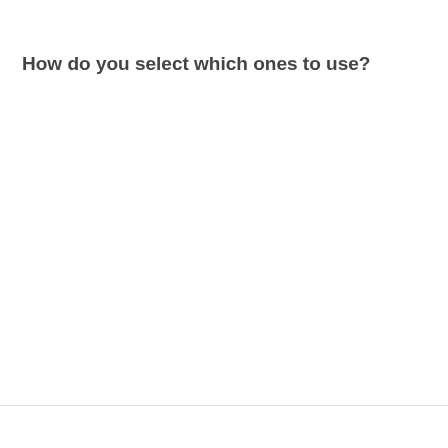How do you select which ones to use?